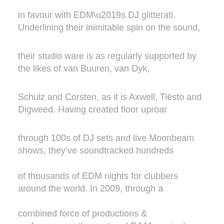in favour with EDM’s DJ glitterati. Underlining their inimitable spin on the sound,
their studio ware is as regularly supported by the likes of van Buuren, van Dyk,
Schulz and Corsten, as it is Axwell, Tiësto and Digweed. Having created floor uproar
through 100s of DJ sets and live Moonbeam shows, they’ve soundtracked hundreds
of thousands of EDM nights for clubbers around the world. In 2009, through a
combined force of productions & performances, they entered DJ Magazine’s annual